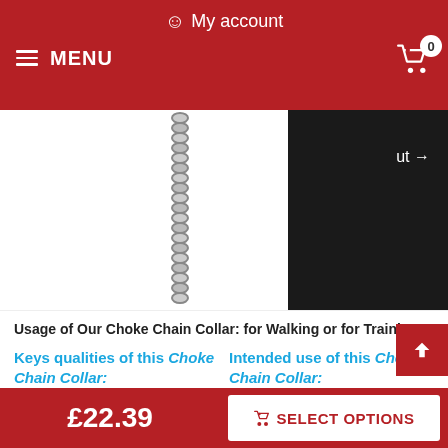My account  MENU  0
[Figure (photo): A silver choke chain collar hanging vertically on white background, with a black dog collar visible on the right side]
Usage of Our Choke Chain Collar: for Walking or for Training
Keys qualities of this Choke Chain Collar:
Intended use of this Choke Chain Collar:
silver glittering look
chromium plated stainless
daily walks
Stafford training
£22.39  SELECT OPTIONS